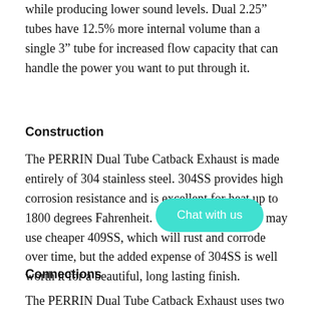while producing lower sound levels. Dual 2.25" tubes have 12.5% more internal volume than a single 3" tube for increased flow capacity that can handle the power you want to put through it.
Construction
The PERRIN Dual Tube Catback Exhaust is made entirely of 304 stainless steel. 304SS provides high corrosion resistance and is excellent for heat up to 1800 degrees Fahrenheit.  Other manufacturers may use cheaper 409SS, which will rust and corrode over time, but the added expense of 304SS is well worth it for a beautiful, long lasting finish.
[Figure (other): Chat with us button - teal rounded rectangle UI element]
Connections
The PERRIN Dual Tube Catback Exhaust uses two